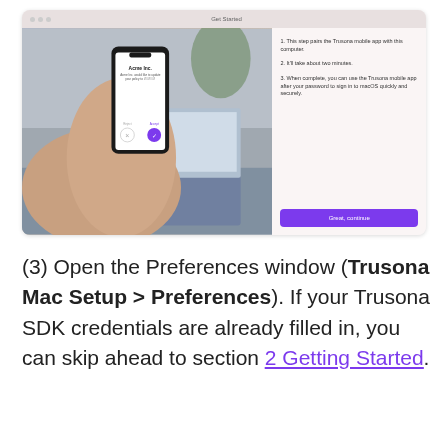[Figure (screenshot): Screenshot of macOS Get Started window for Trusona Mac Setup. Left side shows a photo of hands holding a smartphone displaying an Acme Inc. authorization screen with reject and accept buttons. Right side shows numbered steps: 1. This step pairs the Trusona mobile app with this computer. 2. It'll take about two minutes. 3. When complete, you can use the Trusona mobile app after your password to sign in to macOS quickly and securely. A purple 'Great, continue' button appears at the bottom right.]
(3) Open the Preferences window (Trusona Mac Setup > Preferences). If your Trusona SDK credentials are already filled in, you can skip ahead to section 2 Getting Started.